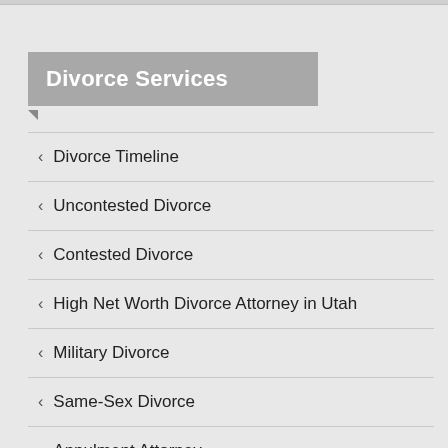Divorce Services
Divorce Timeline
Uncontested Divorce
Contested Divorce
High Net Worth Divorce Attorney in Utah
Military Divorce
Same-Sex Divorce
Annulment Attorney